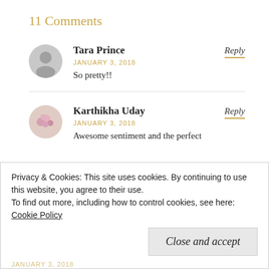11 Comments
Tara Prince
JANUARY 3, 2018
So pretty!!
Reply
Karthikha Uday
JANUARY 3, 2018
Awesome sentiment and the perfect
Reply
Privacy & Cookies: This site uses cookies. By continuing to use this website, you agree to their use.
To find out more, including how to control cookies, see here: Cookie Policy
Close and accept
JANUARY 3, 2018